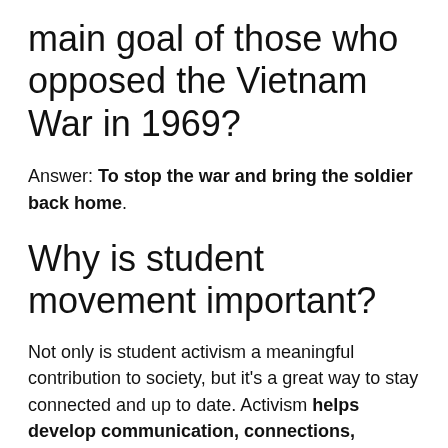main goal of those who opposed the Vietnam War in 1969?
Answer: To stop the war and bring the soldier back home.
Why is student movement important?
Not only is student activism a meaningful contribution to society, but it's a great way to stay connected and up to date. Activism helps develop communication, connections, relationship building, and critical thinking skills. Civic engagement is always a good thing to practice and is